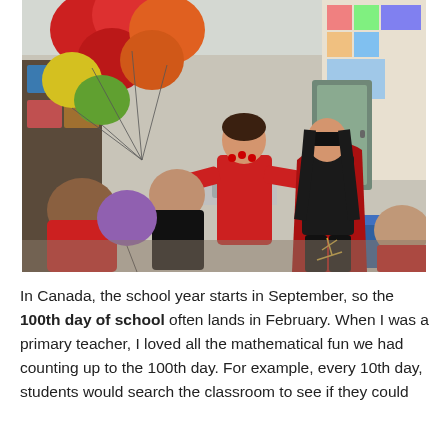[Figure (photo): A classroom scene showing children and two adults dressed in red celebrating what appears to be the 100th day of school. Colorful balloons (red, orange, yellow, green, purple) are visible in the upper left. Educational posters and decorations are on the walls. The adults are interacting with the children in an elementary school classroom.]
In Canada, the school year starts in September, so the 100th day of school often lands in February. When I was a primary teacher, I loved all the mathematical fun we had counting up to the 100th day. For example, every 10th day, students would search the classroom to see if they could